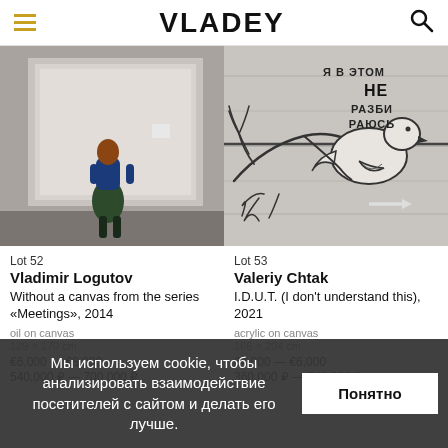VLADEY
[Figure (photo): A woman with red hair in a blue top and dark green skirt stands with her back to the viewer, looking at a large light-colored painting on a gallery wall.]
[Figure (photo): Graffiti-style artwork on grey wood planks: a line-drawn bird on a branch with text in Russian reading 'Я В ЭТОМ НЕ РАЗБИРАЮСЬ' (I don't understand this).]
Lot 52
Vladimir Logutov
Without a canvas from the series «Meetings», 2014
oil on canvas
129 × 170 cm
€6,000 — €8,000
540,000 ₽ — 700,000 ₽
Lot 53
Valeriy Chtak
I.D.U.T. (I don't understand this), 2021
acrylic on canvas
166 × 204 cm
€4,000 — €6,000
360,000 ₽ — 540,000 ₽
Мы используем cookie, чтобы анализировать взаимодействие посетителей с сайтом и делать его лучше.
Понятно